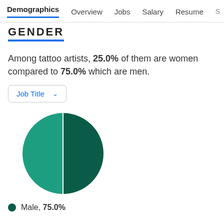Demographics  Overview  Jobs  Salary  Resume  S >
GENDER
Among tattoo artists, 25.0% of them are women compared to 75.0% which are men.
Job Title ∨
[Figure (pie-chart): Gender distribution of tattoo artists]
Male, 75.0%